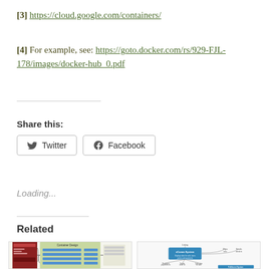[3] https://cloud.google.com/containers/
[4] For example, see: https://goto.docker.com/rs/929-FJL-178/images/docker-hub_0.pdf
Share this:
Twitter  Facebook
Loading...
Related
[Figure (screenshot): Two thumbnail images of related diagrams: left shows a container design diagram with green boxes and arrows, right shows an eComm System diagram with blue boxes and connecting lines.]